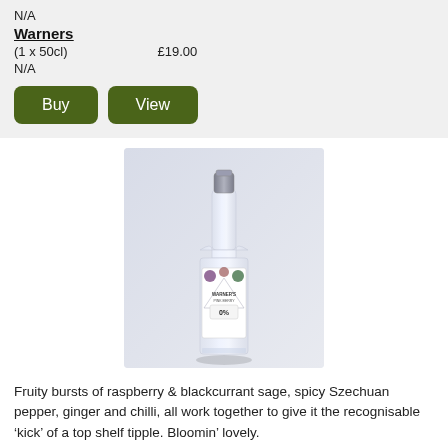N/A
Warners
(1 x 50cl)    £19.00
N/A
Buy
View
[Figure (photo): A bottle of Warner's Pink Berry Botanic Spirits 0% product on a light grey background]
Fruity bursts of raspberry & blackcurrant sage, spicy Szechuan pepper, ginger and chilli, all work together to give it the recognisable ‘kick’ of a top shelf tipple. Bloomin’ lovely.